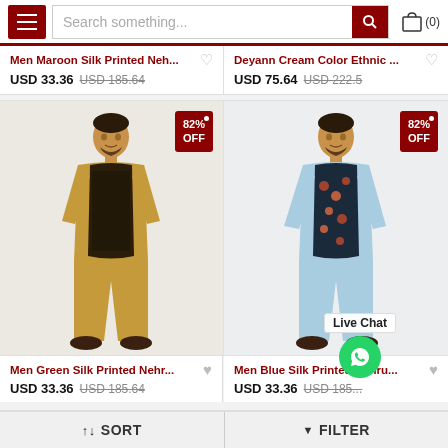Search something...
Men Maroon Silk Printed Neh...
USD 33.36  USD 185.64
Deyann Cream Color Ethnic ...
USD 75.64  USD 222.5
[Figure (photo): Man wearing gold/brown silk kurta with dark printed Nehru jacket, 82% OFF badge]
Men Green Silk Printed Nehr...
USD 33.36  USD 185.64
[Figure (photo): Man wearing light blue silk kurta with dark floral Nehru jacket, 82% OFF badge]
Men Blue Silk Printed Nehru...
USD 33.36  USD 185...
Live Chat
↑↓ SORT    ▼ FILTER